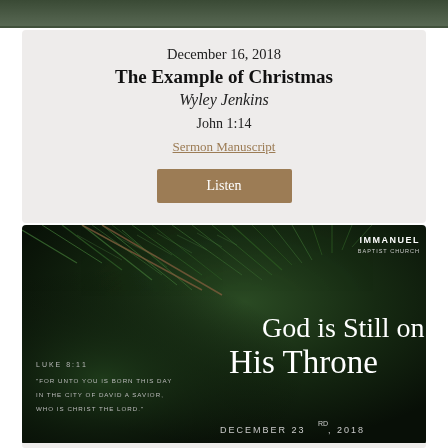[Figure (photo): Dark green pine tree background strip at top]
December 16, 2018
The Example of Christmas
Wyley Jenkins
John 1:14
Sermon Manuscript
Listen
[Figure (photo): Dark green pine branch background image with white text overlay reading 'God is Still on His Throne', Luke 8:11 quote on left, 'DECEMBER 23RD, 2018' at bottom right, 'IMMANUEL BAPTIST CHURCH' logo top right]